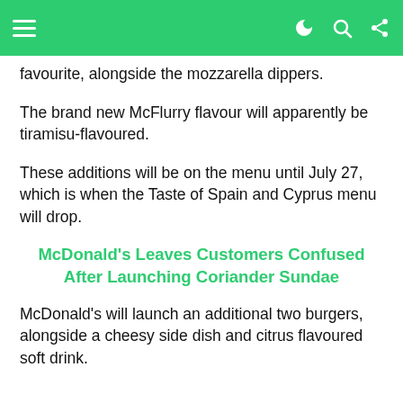navigation bar with menu, dark mode, search, and share icons
favourite, alongside the mozzarella dippers.
The brand new McFlurry flavour will apparently be tiramisu-flavoured.
These additions will be on the menu until July 27, which is when the Taste of Spain and Cyprus menu will drop.
McDonald's Leaves Customers Confused After Launching Coriander Sundae
McDonald's will launch an additional two burgers, alongside a cheesy side dish and citrus flavoured soft drink.